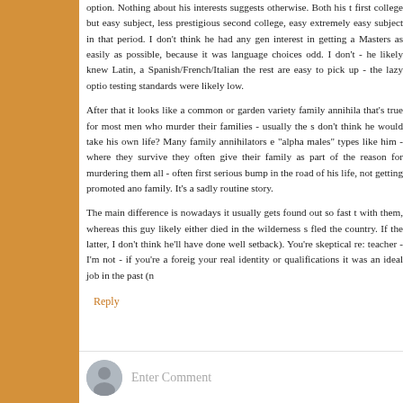option. Nothing about his interests suggests otherwise. Both his first college but easy subject, less prestigious second college, easy extremely easy subject in that period. I don't think he had any gen interest in getting a Masters as easily as possible, because it was language choices odd. I don't - he likely knew Latin, and Spanish/French/Italian the rest are easy to pick up - the lazy option testing standards were likely low.

After that it looks like a common or garden variety family annihilator - that's true for most men who murder their families - usually the s don't think he would take his own life? Many family annihilators e "alpha males" types like him - where they survive they often give their family as part of the reason for murdering them all - often first serious bump in the road of his life, not getting promoted and family. It's a sadly routine story.

The main difference is nowadays it usually gets found out so fast with them, whereas this guy likely either died in the wilderness s fled the country. If the latter, I don't think he'll have done well setback). You're skeptical re: teacher - I'm not - if you're a foreign your real identity or qualifications it was an ideal job in the past (n
Reply
Enter Comment